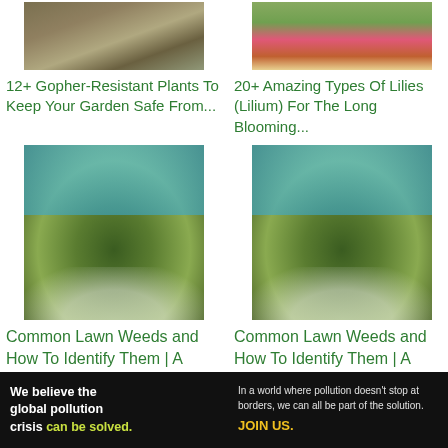[Figure (photo): Thumbnail of dry brown grass/garden ground with gopher damage]
12+ Gopher-Resistant Plants To Keep Your Garden Safe From...
[Figure (photo): Thumbnail of colorful lily flowers (pink/orange coneflowers) in a garden]
20+ Amazing Types Of Lilies (Lilium) For The Long Blooming...
[Figure (photo): Close-up photo of lawn weeds with small white flowers near soil, garden tool visible, person wearing blue gloves]
Common Lawn Weeds and How To Identify Them | A
[Figure (photo): Close-up photo of lawn weeds with small white flowers near soil, garden tool visible, person wearing blue gloves (duplicate)]
Common Lawn Weeds and How To Identify Them | A
[Figure (infographic): Pure Earth advertisement banner: black background, text 'We believe the global pollution crisis can be solved.' in white and yellow-green, center text about pollution crossing borders, join us in yellow, Pure Earth logo with diamond/triangle shapes in gold/green on right]